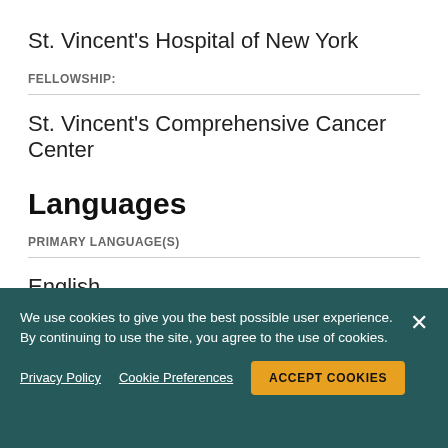St. Vincent's Hospital of New York
FELLOWSHIP:
St. Vincent's Comprehensive Cancer Center
Languages
PRIMARY LANGUAGE(S)
English
We use cookies to give you the best possible user experience. By continuing to use the site, you agree to the use of cookies.
Privacy Policy   Cookie Preferences   ACCEPT COOKIES